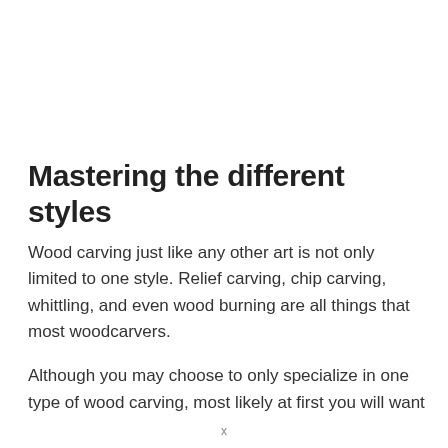Mastering the different styles
Wood carving just like any other art is not only limited to one style. Relief carving, chip carving, whittling, and even wood burning are all things that most woodcarvers.
Although you may choose to only specialize in one type of wood carving, most likely at first you will want